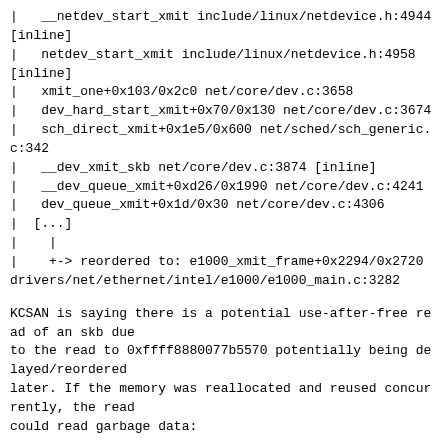|   __netdev_start_xmit include/linux/netdevice.h:4944 [inline]
|   netdev_start_xmit include/linux/netdevice.h:4958 [inline]
|   xmit_one+0x103/0x2c0 net/core/dev.c:3658
|   dev_hard_start_xmit+0x70/0x130 net/core/dev.c:3674
|   sch_direct_xmit+0x1e5/0x600 net/sched/sch_generic.c:342
|   __dev_xmit_skb net/core/dev.c:3874 [inline]
|   __dev_queue_xmit+0xd26/0x1990 net/core/dev.c:4241
|   dev_queue_xmit+0x1d/0x30 net/core/dev.c:4306
|  [...]
|    |
|    +-> reordered to: e1000_xmit_frame+0x2294/0x2720 drivers/net/ethernet/intel/e1000/e1000_main.c:3282
KCSAN is saying there is a potential use-after-free read of an skb due
to the read to 0xffff8880077b5570 potentially being delayed/reordered
later. If the memory was reallocated and reused concurrently, the read
could read garbage data:
1.      The e1000 driver is being instructed to transmit in
        e1000_xmit_frame(). Here it uses the data in the skb in various
        places (e.g. in skb_headlen() above) to set up a new element in